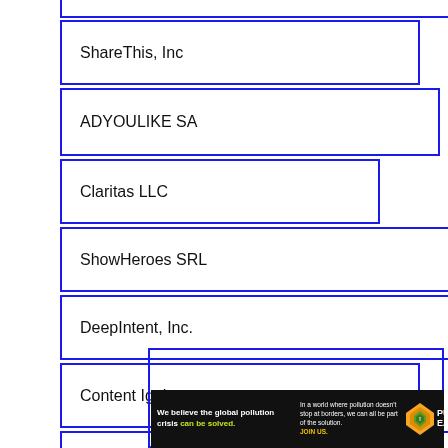ShareThis, Inc
ADYOULIKE SA
Claritas LLC
ShowHeroes SRL
DeepIntent, Inc.
Content Ignite
Protected Media LTD
[Figure (infographic): Pure Earth advertisement banner: 'We believe the global pollution crisis can be solved. In a world where pollution doesn't stop at borders, we can all be part of the solution. JOIN US.' with Pure Earth logo.]